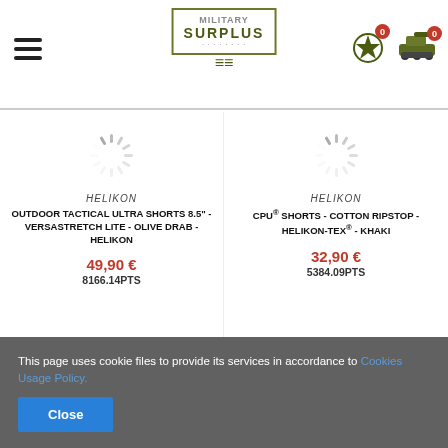[Figure (logo): Military Surplus logo with olive/green badge and chevrons, hamburger menu icon, star icon with badge 0, tank icon with badge 0 in page header]
[Figure (photo): Loading spinner placeholder for product image - left product]
HELIKON
OUTDOOR TACTICAL ULTRA SHORTS 8.5" - VERSASTRETCH LITE - OLIVE DRAB - HELIKON
49,90 €
8166.14PTS
[Figure (photo): Loading spinner placeholder for product image - right product]
HELIKON
CPU® SHORTS - COTTON RIPSTOP - HELIKON-TEX® - KHAKI
32,90 €
5384.09PTS
This page uses cookie files to provide its services in accordance to Cookies Usage Policy.
Close